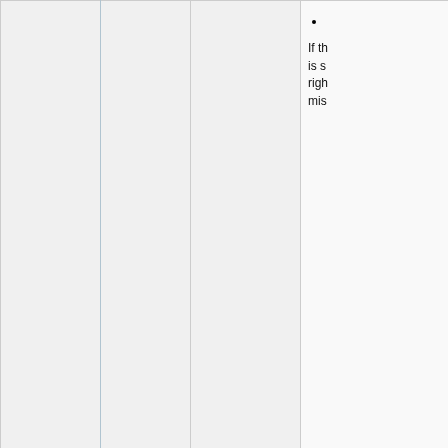|  |  |  |  |
| --- | --- | --- | --- |
|  |  |  | • [bullet content clipped]

If th... is s... righ... mis... |
|  |  | DECIMAL(n1, [n2], [n3]) | Plac... outp...
• 
• 

• 

For...
" 1 2... |